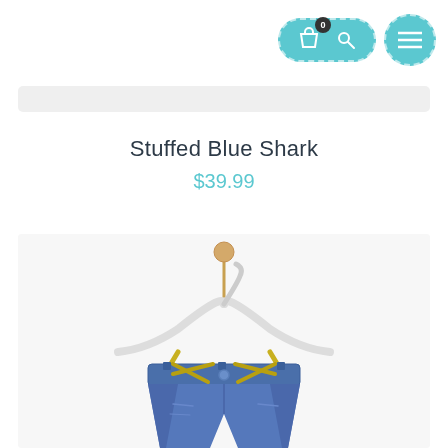[Figure (screenshot): Top navigation bar with cart+search pill button (teal, dashed border, shopping bag icon with badge '0' and key/search icon) and teal circular menu button with hamburger icon]
Stuffed Blue Shark
$39.99
[Figure (photo): Product photo of children's denim jeans/shorts hung on a white clothes hanger with a wooden ball top, suspended against a light grey/white background]